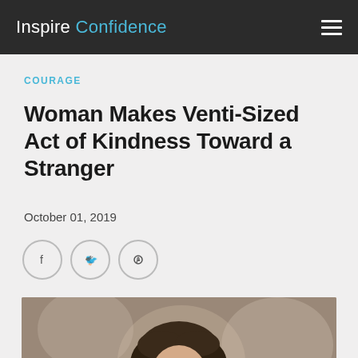Inspire Confidence
COURAGE
Woman Makes Venti-Sized Act of Kindness Toward a Stranger
October 01, 2019
[Figure (illustration): Social sharing icons: Facebook, Twitter, Pinterest]
[Figure (photo): Photo of a woman with dark hair, partially visible from the neck up]